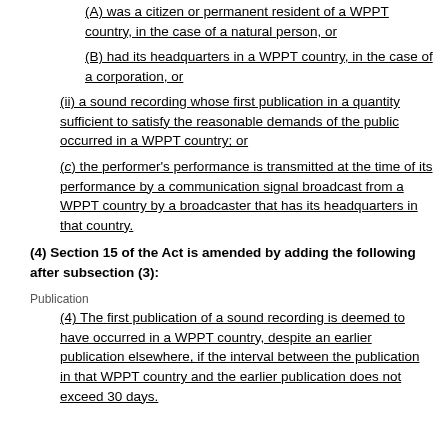(A) was a citizen or permanent resident of a WPPT country, in the case of a natural person, or
(B) had its headquarters in a WPPT country, in the case of a corporation, or
(ii) a sound recording whose first publication in a quantity sufficient to satisfy the reasonable demands of the public occurred in a WPPT country; or
(c) the performer's performance is transmitted at the time of its performance by a communication signal broadcast from a WPPT country by a broadcaster that has its headquarters in that country.
(4) Section 15 of the Act is amended by adding the following after subsection (3):
Publication
(4) The first publication of a sound recording is deemed to have occurred in a WPPT country, despite an earlier publication elsewhere, if the interval between the publication in that WPPT country and the earlier publication does not exceed 30 days.